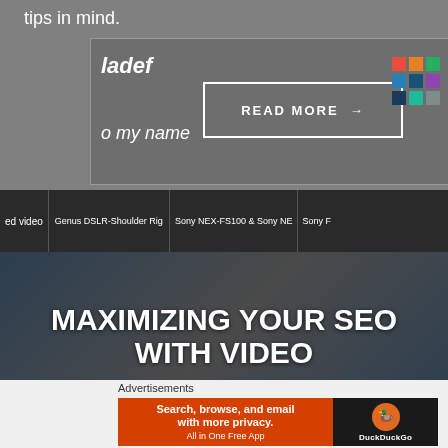tips in mind.
ladef
READ MORE →
o my name
[Figure (screenshot): Color grid icon with 9 colored squares in 3x3 arrangement]
[Figure (screenshot): Dark video section showing video thumbnails strip: 'ed video', 'Genus DSLR-Shoulder Rig', 'Sony NEX-FS100 & Sony NE', 'Sony F' and a main video player area]
MAXIMIZING YOUR SEO WITH VIDEO
If you're using YouTube or some other similar video
Advertisements
[Figure (screenshot): DuckDuckGo advertisement banner: orange left panel with 'Search, browse, and email with more privacy. All in One Free App' and black right panel with DuckDuckGo logo]